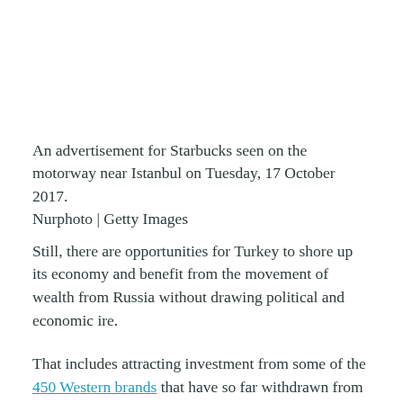An advertisement for Starbucks seen on the motorway near Istanbul on Tuesday, 17 October 2017.
Nurphoto | Getty Images
Still, there are opportunities for Turkey to shore up its economy and benefit from the movement of wealth from Russia without drawing political and economic ire.
That includes attracting investment from some of the 450 Western brands that have so far withdrawn from Russia, according to the Atlantic Council's Arslan.
“If it plays it right, I think it can be a huge opportunity for